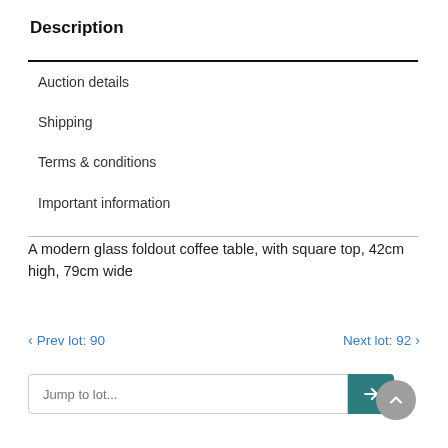Description
Auction details
Shipping
Terms & conditions
Important information
A modern glass foldout coffee table, with square top, 42cm high, 79cm wide
‹ Prev lot: 90    Next lot: 92 ›
Jump to lot...